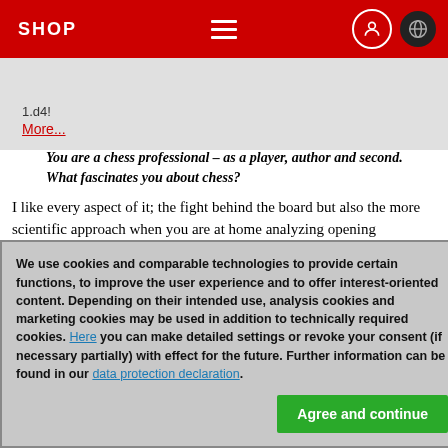SHOP
1.d4! More...
You are a chess professional – as a player, author and second. What fascinates you about chess?
I like every aspect of it; the fight behind the board but also the more scientific approach when you are at home analyzing opening variations or one's games. The immense depth of the game continues to fascinate me.
Do you still remember when the chess virus infected you?
We use cookies and comparable technologies to provide certain functions, to improve the user experience and to offer interest-oriented content. Depending on their intended use, analysis cookies and marketing cookies may be used in addition to technically required cookies. Here you can make detailed settings or revoke your consent (if necessary partially) with effect for the future. Further information can be found in our data protection declaration.